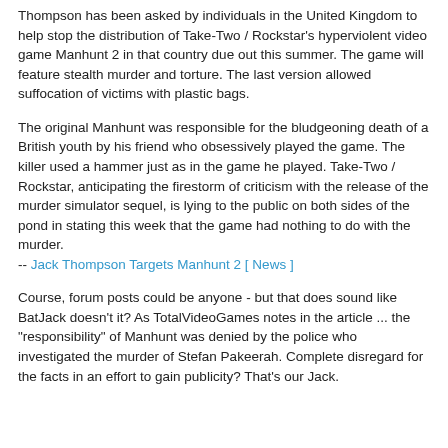Thompson has been asked by individuals in the United Kingdom to help stop the distribution of Take-Two / Rockstar's hyperviolent video game Manhunt 2 in that country due out this summer. The game will feature stealth murder and torture. The last version allowed suffocation of victims with plastic bags.
The original Manhunt was responsible for the bludgeoning death of a British youth by his friend who obsessively played the game. The killer used a hammer just as in the game he played. Take-Two / Rockstar, anticipating the firestorm of criticism with the release of the murder simulator sequel, is lying to the public on both sides of the pond in stating this week that the game had nothing to do with the murder.
-- Jack Thompson Targets Manhunt 2 [ News ]
Course, forum posts could be anyone - but that does sound like BatJack doesn't it? As TotalVideoGames notes in the article ... the "responsibility" of Manhunt was denied by the police who investigated the murder of Stefan Pakeerah. Complete disregard for the facts in an effort to gain publicity? That's our Jack.